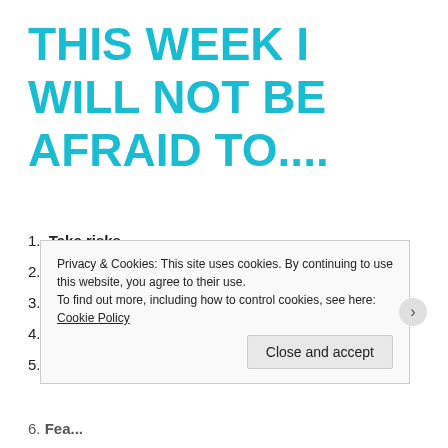THIS WEEK I WILL NOT BE AFRAID TO....
1. Take risks.
2. Say NO!
3. Try that hot yoga class my friend invited me to.
4. Keep my plate manageable.
5. Stand up for myself.
Privacy & Cookies: This site uses cookies. By continuing to use this website, you agree to their use.
To find out more, including how to control cookies, see here: Cookie Policy
Close and accept